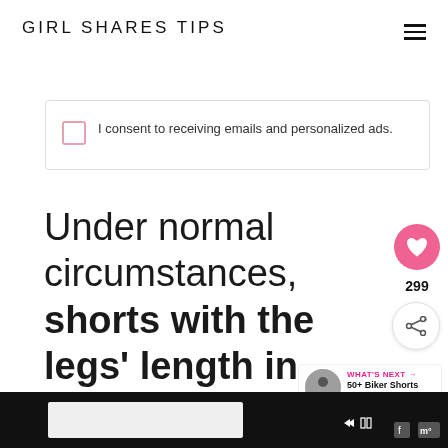GIRL SHARES TIPS
I consent to receiving emails and personalized ads.
Under normal circumstances, shorts with the legs' length in the middle of the thign
[Figure (other): Advertisement bar at the bottom with dark background]
[Figure (other): What's Next panel showing 50+ Biker Shorts Outfi...]